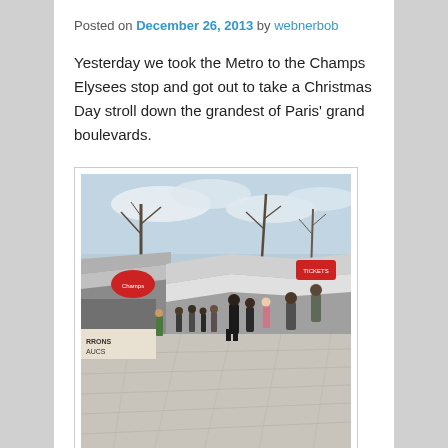Posted on December 26, 2013 by webnerbob
Yesterday we took the Metro to the Champs Elysees stop and got out to take a Christmas Day stroll down the grandest of Paris' grand boulevards.
[Figure (photo): Outdoor Christmas market on the Champs Elysees in Paris. Rows of white-roofed stalls line the boulevard with crowds of people walking between them. Bare winter trees visible in the background under a cloudy sky. Food vendor stalls visible on the left side.]